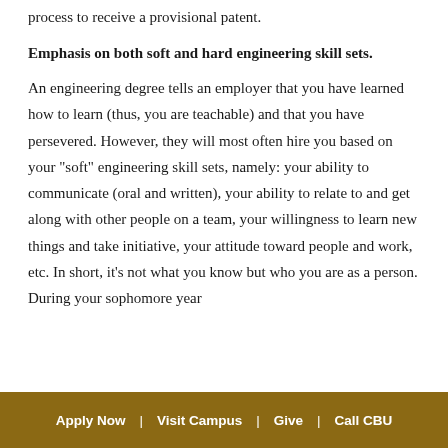process to receive a provisional patent.
Emphasis on both soft and hard engineering skill sets.
An engineering degree tells an employer that you have learned how to learn (thus, you are teachable) and that you have persevered. However, they will most often hire you based on your "soft" engineering skill sets, namely: your ability to communicate (oral and written), your ability to relate to and get along with other people on a team, your willingness to learn new things and take initiative, your attitude toward people and work, etc. In short, it's not what you know but who you are as a person. During your sophomore year
Apply Now  |  Visit Campus  |  Give  |  Call CBU